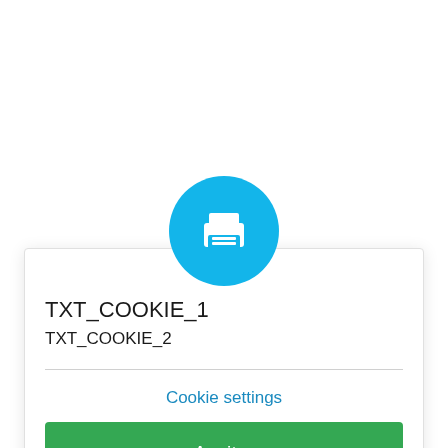[Figure (illustration): Blue circular icon with a white printer/cookie icon inside, partially visible at top of dialog]
TXT_COOKIE_1
TXT_COOKIE_2
Cookie settings
Aceitar